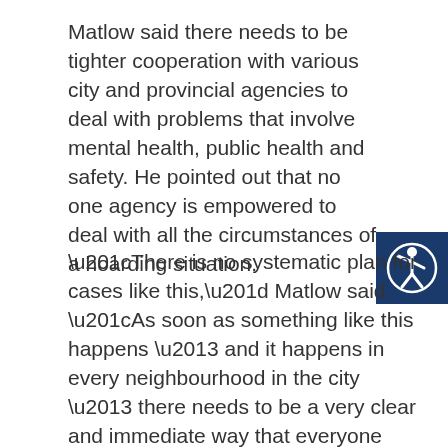Matlow said there needs to be tighter cooperation with various city and provincial agencies to deal with problems that involve mental health, public health and safety. He pointed out that no one agency is empowered to deal with all the circumstances of a hoarding situation.
[Figure (illustration): Accessibility icon: white person with raised arm in a circle on a dark blue square background]
“There is no systematic plan for cases like this,” Matlow said. “As soon as something like this happens – and it happens in every neighbourhood in the city – there needs to be a very clear and immediate way that everyone works together to find a solution for that immediate case.”